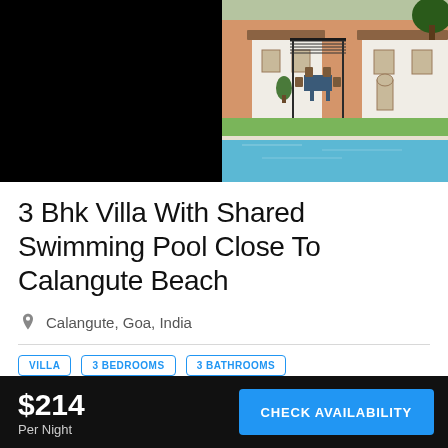[Figure (photo): Left half of image row: solid black rectangle (dark/unloaded image)]
[Figure (photo): Right half of image row: villa exterior with pergola/covered outdoor dining area, rattan chairs, and swimming pool in foreground, warm terracotta building in background with tropical greenery]
3 Bhk Villa With Shared Swimming Pool Close To Calangute Beach
Calangute, Goa, India
VILLA
3 BEDROOMS
3 BATHROOMS
$214
Per Night
CHECK AVAILABILITY